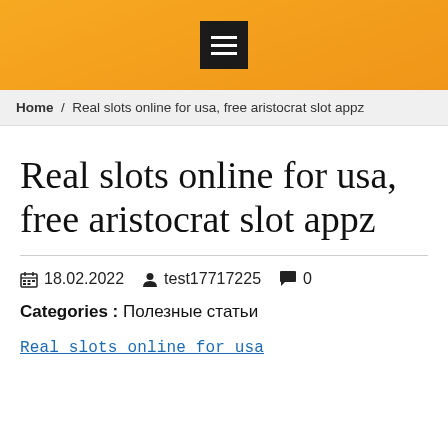menu icon / hamburger button
Home / Real slots online for usa, free aristocrat slot appz
Real slots online for usa, free aristocrat slot appz
18.02.2022  test17717225  0
Categories : Полезные статьи
Real slots online for usa